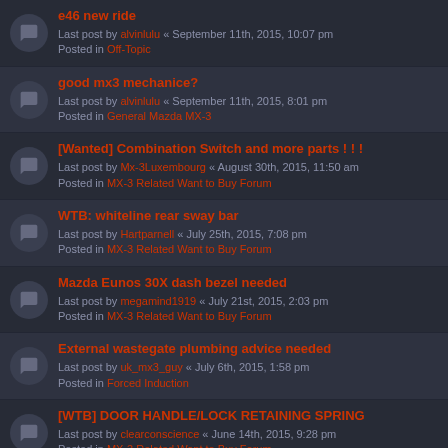e46 new ride — Last post by alvinlulu « September 11th, 2015, 10:07 pm — Posted in Off-Topic
good mx3 mechanice? — Last post by alvinlulu « September 11th, 2015, 8:01 pm — Posted in General Mazda MX-3
[Wanted] Combination Switch and more parts ! ! ! — Last post by Mx-3Luxembourg « August 30th, 2015, 11:50 am — Posted in MX-3 Related Want to Buy Forum
WTB: whiteline rear sway bar — Last post by Hartparnell « July 25th, 2015, 7:08 pm — Posted in MX-3 Related Want to Buy Forum
Mazda Eunos 30X dash bezel needed — Last post by megamind1919 « July 21st, 2015, 2:03 pm — Posted in MX-3 Related Want to Buy Forum
External wastegate plumbing advice needed — Last post by uk_mx3_guy « July 6th, 2015, 1:58 pm — Posted in Forced Induction
[WTB] DOOR HANDLE/LOCK RETAINING SPRING — Last post by clearconscience « June 14th, 2015, 9:28 pm — Posted in MX-3 Related Want to Buy Forum
[WTB] 1.8L knock sensor — Last post by easts1d3 « June 10th, 2015, 10:08 pm — Posted in MX-3 Related Want to Buy Forum